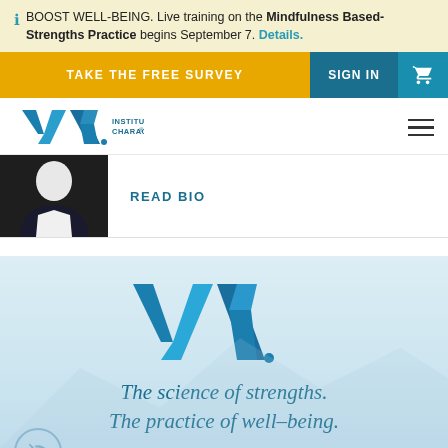BOOST WELL-BEING. Live training on the Mindfulness Based-Strengths Practice begins September 7. Details.
TAKE THE FREE SURVEY
SIGN IN
[Figure (logo): VIA Institute on Character logo with blue V/A letters]
READ BIO
[Figure (photo): Partial photo of a person in a dark jacket and white shirt]
[Figure (logo): Large VIA logo centered on light blue background]
The science of strengths.
The practice of well–being.
Get emails with tips and tools for your strengths-building journey